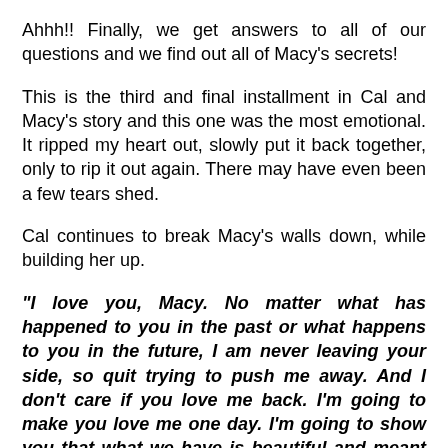Ahhh!! Finally, we get answers to all of our questions and we find out all of Macy's secrets!
This is the third and final installment in Cal and Macy's story and this one was the most emotional. It ripped my heart out, slowly put it back together, only to rip it out again. There may have even been a few tears shed.
Cal continues to break Macy's walls down, while building her up.
“I love you, Macy. No matter what has happened to you in the past or what happens to you in the future, I am never leaving your side, so quit trying to push me away. And I don’t care if you love me back. I’m going to make you love me one day. I’m going to show you that what we have is beautiful and meant to be.”